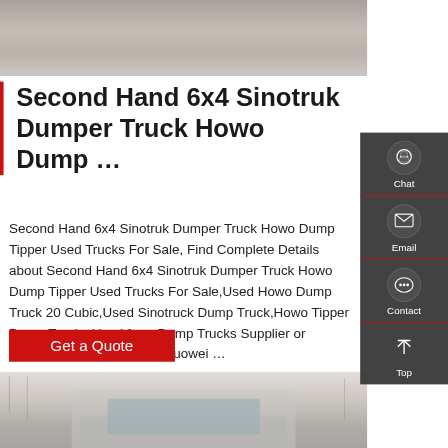[Figure (photo): Top portion of a truck photo, showing road/ground surface]
Second Hand 6x4 Sinotruk Dumper Truck Howo Dump …
Second Hand 6x4 Sinotruk Dumper Truck Howo Dump Tipper Used Trucks For Sale, Find Complete Details about Second Hand 6x4 Sinotruk Dumper Truck Howo Dump Tipper Used Trucks For Sale,Used Howo Dump Truck 20 Cubic,Used Sinotruck Dump Truck,Howo Tipper Dump Trucks Used from Dump Trucks Supplier or Manufacturer-Shandong Zhuowei …
[Figure (other): Get a Quote red button]
[Figure (photo): Bottom photo showing front cab of a white Sinotruk Howo truck with bare trees in background]
[Figure (infographic): Sidebar with Chat, Email, Contact, and Top navigation icons on dark background]